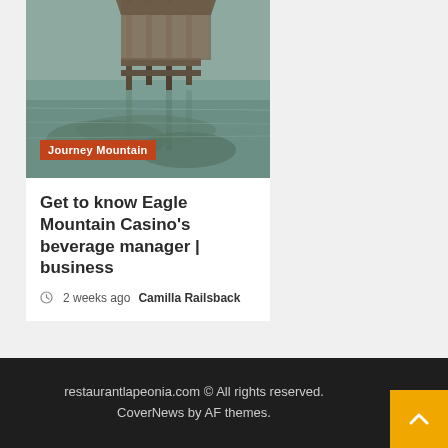[Figure (photo): Aerial or waterfront photo showing a wooden pier/dock structure over calm greenish water with reflections, possibly a tropical or coastal setting.]
Journey Mountain
Get to know Eagle Mountain Casino's beverage manager | business
2 weeks ago  Camilla Railsback
restaurantlapeonia.com © All rights reserved. CoverNews by AF themes.